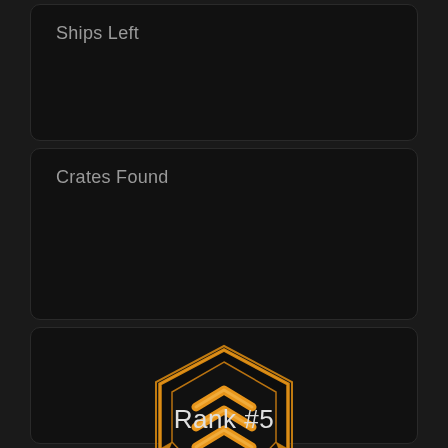Ships Left
Crates Found
[Figure (illustration): Gold military rank badge with pentagon/shield shape and three upward-pointing chevrons]
Rank #5